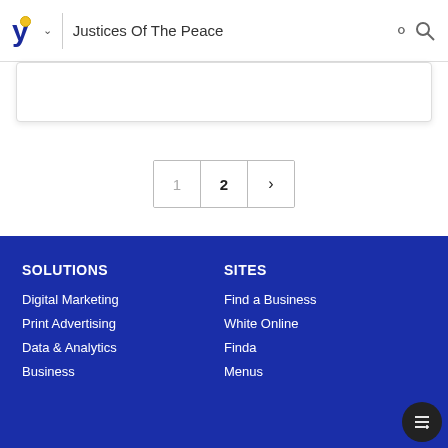Justices Of The Peace
[Figure (screenshot): Pagination control showing page 1, page 2 (current/bold), and next arrow button]
SOLUTIONS
Digital Marketing
Print Advertising
Data & Analytics
Business
SITES
Find a Business
White Online
Finda
Menus